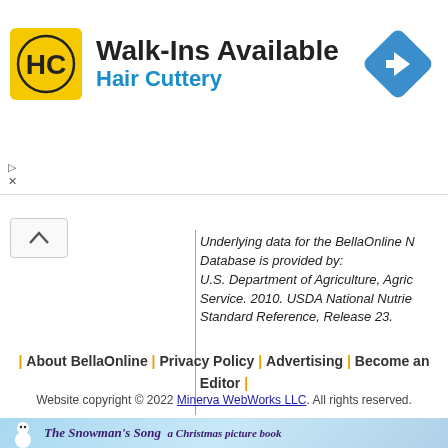[Figure (infographic): Hair Cuttery advertisement banner with HC logo, 'Walk-Ins Available' text, 'Hair Cuttery' subtitle in blue, and a blue navigation arrow diamond icon on the right]
Underlying data for the BellaOnline N Database is provided by: U.S. Department of Agriculture, Agric Service. 2010. USDA National Nutrie Standard Reference, Release 23.
| About BellaOnline | Privacy Policy | Advertising | Become an Editor |
Website copyright © 2022 Minerva WebWorks LLC. All rights reserved.
[Figure (illustration): Bottom banner for 'The Snowman's Song a Christmas picture book' with snowman illustration on blue snowy background]